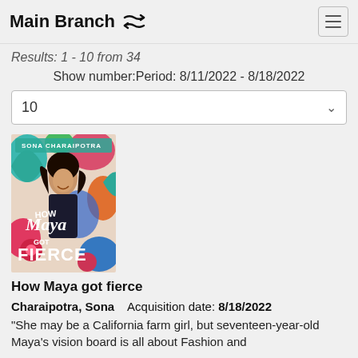Main Branch
Results: 1 - 10 from 34
Show number:Period: 8/11/2022 - 8/18/2022
10
[Figure (illustration): Book cover of 'How Maya Got Fierce' by Sona Charaipotra, colorful floral background with a young woman]
How Maya got fierce
Charaipotra, Sona   Acquisition date: 8/18/2022
"She may be a California farm girl, but seventeen-year-old Maya's vision board is all about Fashion and